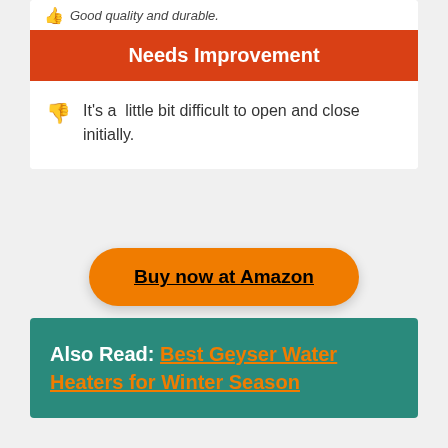Good quality and durable.
Needs Improvement
It's a little bit difficult to open and close initially.
Buy now at Amazon
Also Read: Best Geyser Water Heaters for Winter Season